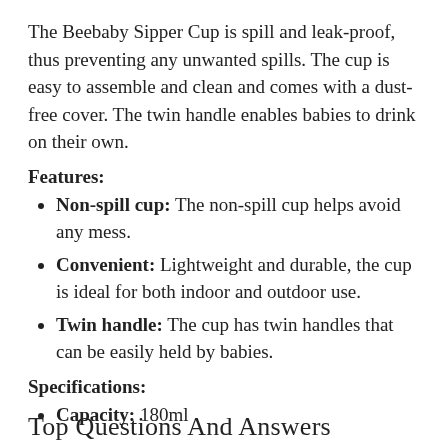The Beebaby Sipper Cup is spill and leak-proof, thus preventing any unwanted spills. The cup is easy to assemble and clean and comes with a dust-free cover. The twin handle enables babies to drink on their own.
Features:
Non-spill cup: The non-spill cup helps avoid any mess.
Convenient: Lightweight and durable, the cup is ideal for both indoor and outdoor use.
Twin handle: The cup has twin handles that can be easily held by babies.
Specifications:
Capacity: 180ml
Top Questions And Answers